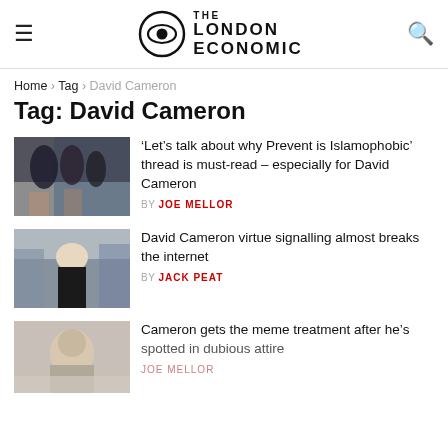THE LONDON ECONOMIC
Home > Tag > David Cameron
Tag: David Cameron
[Figure (photo): People in dark winter clothes seen from behind outdoors]
‘Let’s talk about why Prevent is Islamophobic’ thread is must-read – especially for David Cameron
BY JOE MELLOR
[Figure (photo): David Cameron standing outside in a black suit]
David Cameron virtue signalling almost breaks the internet
BY JACK PEAT
[Figure (photo): Close-up of a man's face]
Cameron gets the meme treatment after he’s spotted in dubious attire
JOE MELLOR